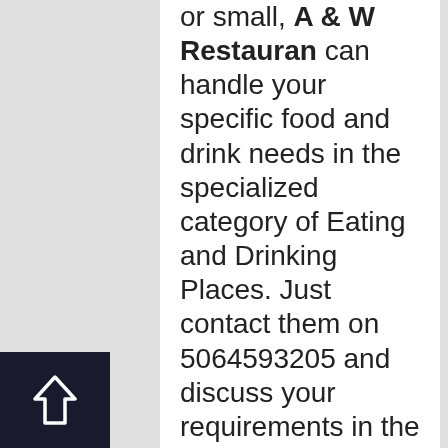or small, A & W Restauran can handle your specific food and drink needs in the specialized category of Eating and Drinking Places. Just contact them on 5064593205 and discuss your requirements in the knowledge that you are dealing with Eating and Drinking Pl...